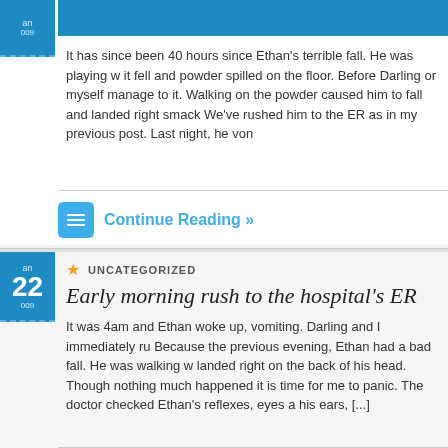It has since been 40 hours since Ethan's terrible fall. He was playing w... it fell and powder spilled on the floor. Before Darling or myself manage to it. Walking on the powder caused him to fall and landed right smack We've rushed him to the ER as in my previous post. Last night, he von...
Continue Reading »
UNCATEGORIZED
Early morning rush to the hospital's ER
It was 4am and Ethan woke up, vomiting. Darling and I immediately ru... Because the previous evening, Ethan had a bad fall. He was walking w... landed right on the back of his head. Though nothing much happened it is time for me to panic. The doctor checked Ethan's reflexes, eyes a... his ears, [...]